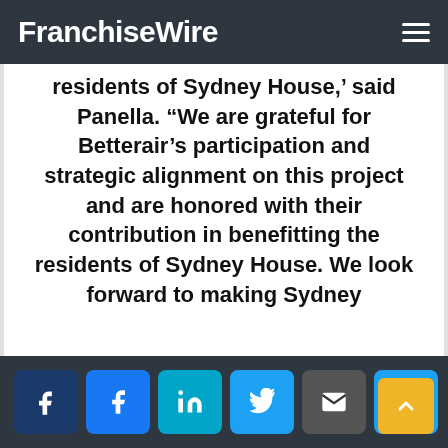FranchiseWire
residents of Sydney House,’ said Panella. “We are grateful for Betterair’s participation and strategic alignment on this project and are honored with their contribution in benefitting the residents of Sydney House. We look forward to making Sydney
Social share buttons: Facebook dark, Facebook, LinkedIn, Twitter, Email, Messenger. Scroll to top button.